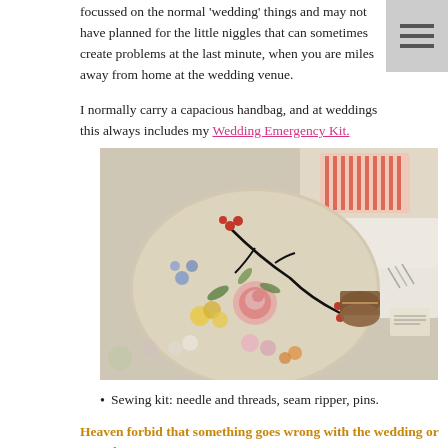focussed on the normal 'wedding' things and may not have planned for the little niggles that can sometimes create problems at the last minute, when you are miles away from home at the wedding venue.

I normally carry a capacious handbag, and at weddings this always includes my Wedding Emergency Kit.
[Figure (photo): A floral embroidered pouch/bag open on a surface, showing sewing supplies inside including a wooden spool; various items in the background including what appears to be a striped package.]
Sewing kit: needle and threads, seam ripper, pins.
Heaven forbid that something goes wrong with the wedding or attendants'